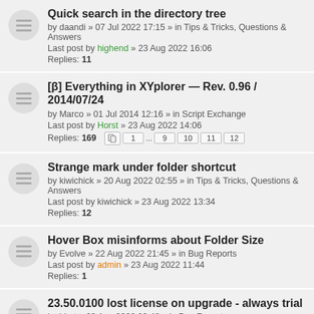Quick search in the directory tree
by daandi » 07 Jul 2022 17:15 » in Tips & Tricks, Questions & Answers
Last post by highend » 23 Aug 2022 16:06
Replies: 11
[β] Everything in XYplorer — Rev. 0.96 / 2014/07/24
by Marco » 01 Jul 2014 12:16 » in Script Exchange
Last post by Horst » 23 Aug 2022 14:06
Replies: 169
Strange mark under folder shortcut
by kiwichick » 20 Aug 2022 02:55 » in Tips & Tricks, Questions & Answers
Last post by kiwichick » 23 Aug 2022 13:34
Replies: 12
Hover Box misinforms about Folder Size
by Evolve » 22 Aug 2022 21:45 » in Bug Reports
Last post by admin » 23 Aug 2022 11:44
Replies: 1
23.50.0100 lost license on upgrade - always trial
by bbot » 23 Aug 2022 09:48 » in Bug Reports
Last post by admin » 23 Aug 2022 11:34
Replies: 6